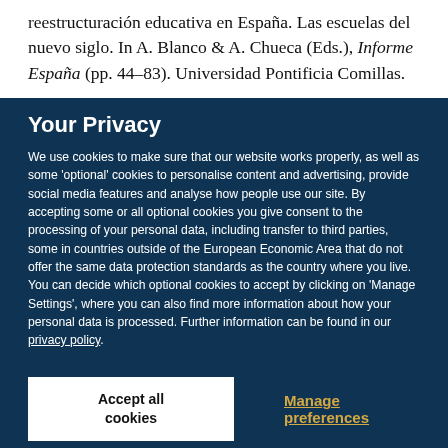reestructuración educativa en España. Las escuelas del nuevo siglo. In A. Blanco & A. Chueca (Eds.), Informe España (pp. 44–83). Universidad Pontificia Comillas.
Your Privacy
We use cookies to make sure that our website works properly, as well as some 'optional' cookies to personalise content and advertising, provide social media features and analyse how people use our site. By accepting some or all optional cookies you give consent to the processing of your personal data, including transfer to third parties, some in countries outside of the European Economic Area that do not offer the same data protection standards as the country where you live. You can decide which optional cookies to accept by clicking on 'Manage Settings', where you can also find more information about how your personal data is processed. Further information can be found in our privacy policy.
Accept all cookies
Manage preferences